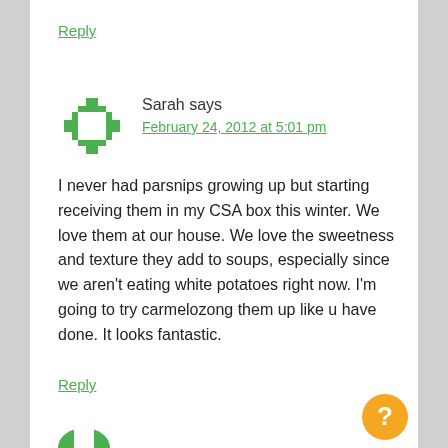Reply
Sarah says
February 24, 2012 at 5:01 pm
I never had parsnips growing up but starting receiving them in my CSA box this winter. We love them at our house. We love the sweetness and texture they add to soups, especially since we aren't eating white potatoes right now. I'm going to try carmelozong them up like u have done. It looks fantastic.
Reply